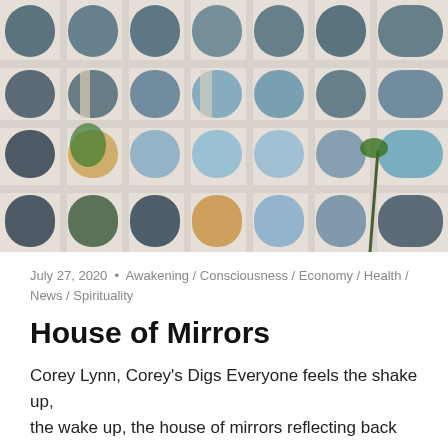[Figure (photo): Close-up photograph of a modern white building facade with repeating arched windows arranged in a grid pattern. The arches reflect blue sky, palm trees, and surrounding buildings.]
July 27, 2020  •  Awakening / Consciousness / Economy / Health / News / Spirituality
House of Mirrors
Corey Lynn, Corey's Digs Everyone feels the shake up, the wake up, the house of mirrors reflecting back their